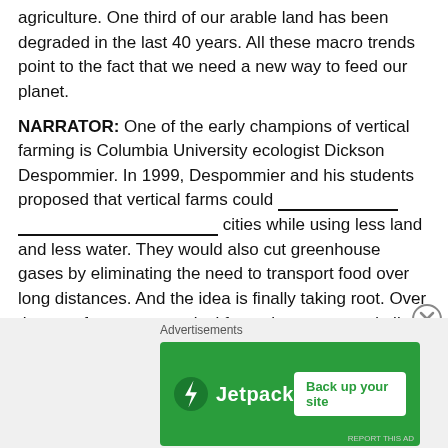agriculture. One third of our arable land has been degraded in the last 40 years. All these macro trends point to the fact that we need a new way to feed our planet.
NARRATOR: One of the early champions of vertical farming is Columbia University ecologist Dickson Despommier. In 1999, Despommier and his students proposed that vertical farms could __________ __________________ cities while using less land and less water. They would also cut greenhouse gases by eliminating the need to transport food over long distances. And the idea is finally taking root. Over the past few years, vertical farms have sprouted all over the world, including in Vancouver, Singapore, Panama, the UK, and around the
[Figure (infographic): Advertisement banner for Jetpack with green background, Jetpack logo and lightning bolt icon on the left, and a 'Back up your site' button on the right. Above the banner is an 'Advertisements' label.]